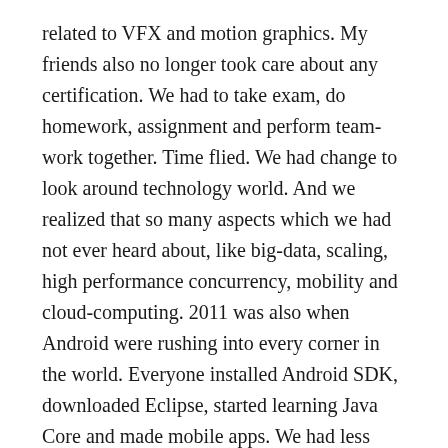related to VFX and motion graphics. My friends also no longer took care about any certification. We had to take exam, do homework, assignment and perform team-work together. Time flied. We had change to look around technology world. And we realized that so many aspects which we had not ever heard about, like big-data, scaling, high performance concurrency, mobility and cloud-computing. 2011 was also when Android were rushing into every corner in the world. Everyone installed Android SDK, downloaded Eclipse, started learning Java Core and made mobile apps. We had less time for gaming, but overload with studying instead.
In fourth year, everything was changed again. Now we were going to graduate soon. And everyone had to go with their own way. People worried about jobs, about offers, etc. We could easily find many many interested job offers on